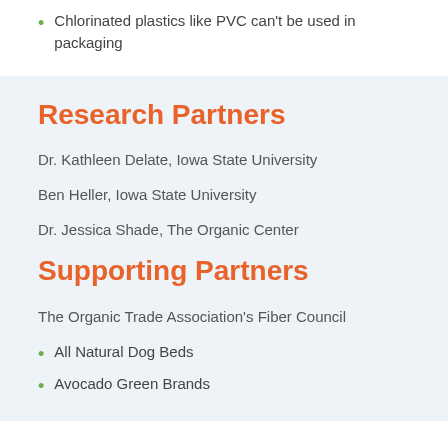Chlorinated plastics like PVC can't be used in packaging
Research Partners
Dr. Kathleen Delate, Iowa State University
Ben Heller, Iowa State University
Dr. Jessica Shade, The Organic Center
Supporting Partners
The Organic Trade Association's Fiber Council
All Natural Dog Beds
Avocado Green Brands